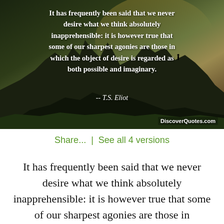[Figure (photo): A dramatic mountain landscape photo with dark rocky peaks against a hazy sky, with a quote overlaid in white bold text. The quote reads: 'It has frequently been said that we never desire what we think absolutely inapprehensible: it is however true that some of our sharpest agonies are those in which the object of desire is regarded as both possible and imaginary.' attributed to T.S. Eliot. DiscoverQuotes.com watermark in bottom right.]
Share...  |  See all 4 versions
It has frequently been said that we never desire what we think absolutely inapprehensible: it is however true that some of our sharpest agonies are those in which the object of desire is regarded as